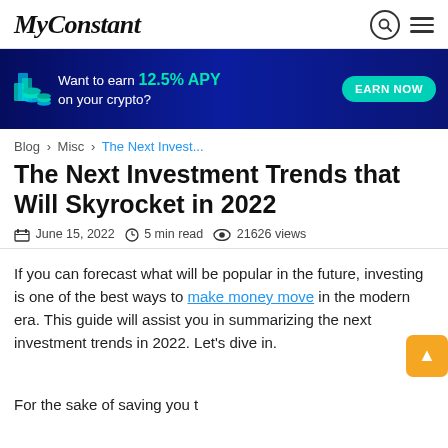MyConstant
[Figure (infographic): Dark blue banner advertisement: 'Want to earn 12.5% APY on your crypto?' with EARN NOW button and crypto coin graphics on left]
Blog > Misc > The Next Invest...
The Next Investment Trends that Will Skyrocket in 2022
June 15, 2022 · 5 min read · 21626 views
If you can forecast what will be popular in the future, investing is one of the best ways to make money move in the modern era. This guide will assist you in summarizing the next investment trends in 2022. Let's dive in.